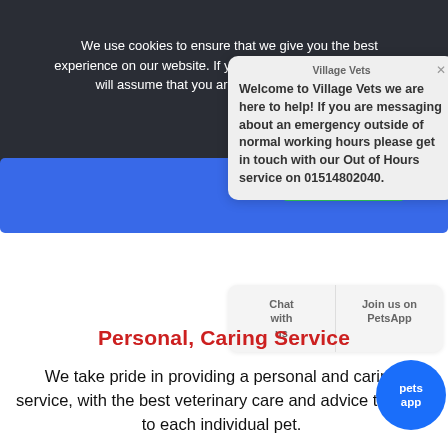We use cookies to ensure that we give you the best experience on our website. If you continue to use this site we will assume that you are happy for us to do so.
Ok
[Figure (screenshot): FIND OUT MORE green button on blue banner]
Village Vets
Welcome to Village Vets we are here to help! If you are messaging about an emergency outside of normal working hours please get in touch with our Out of Hours service on 01514802040.
Chat with us
Join us on PetsApp
Personal, Caring Service
We take pride in providing a personal and caring service, with the best veterinary care and advice tailored to each individual pet.
[Figure (logo): PetsApp blue circle logo with text 'pets app']